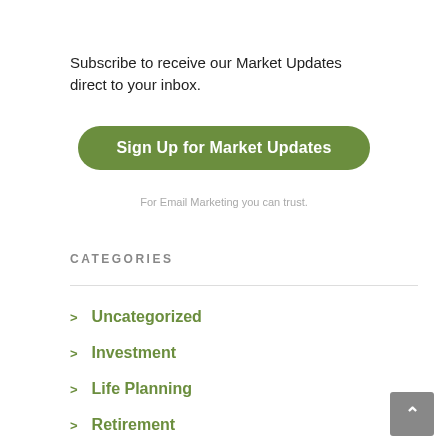Subscribe to receive our Market Updates direct to your inbox.
[Figure (other): Green rounded button with white bold text: 'Sign Up for Market Updates']
For Email Marketing you can trust.
CATEGORIES
Uncategorized
Investment
Life Planning
Retirement
Financial
Weekly Wealth Report